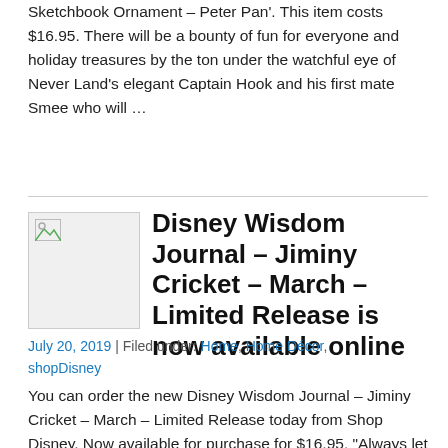Sketchbook Ornament – Peter Pan'. This item costs $16.95. There will be a bounty of fun for everyone and holiday treasures by the ton under the watchful eye of Never Land's elegant Captain Hook and his first mate Smee who will …
[Figure (photo): Placeholder thumbnail image with broken image icon]
Disney Wisdom Journal – Jiminy Cricket – March – Limited Release is now available online
July 20, 2019 | Filed under: Home, Home Décor, shopDisney
You can order the new Disney Wisdom Journal – Jiminy Cricket – March – Limited Release today from Shop Disney. Now available for purchase for $16.95. "Always let your conscience be your guide" when jotting down your thoughts in this limited release Disney Wisdom journal featuring an inspirational quote from …